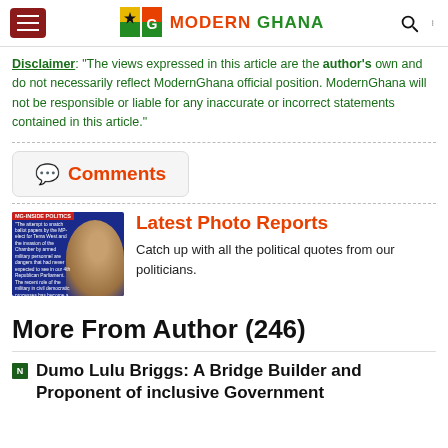Modern Ghana
Disclaimer: "The views expressed in this article are the author's own and do not necessarily reflect ModernGhana official position. ModernGhana will not be responsible or liable for any inaccurate or incorrect statements contained in this article."
Comments
[Figure (photo): Thumbnail image for Latest Photo Reports section showing a political figure with text overlay]
Latest Photo Reports
Catch up with all the political quotes from our politicians.
More From Author (246)
Dumo Lulu Briggs: A Bridge Builder and Proponent of inclusive Government